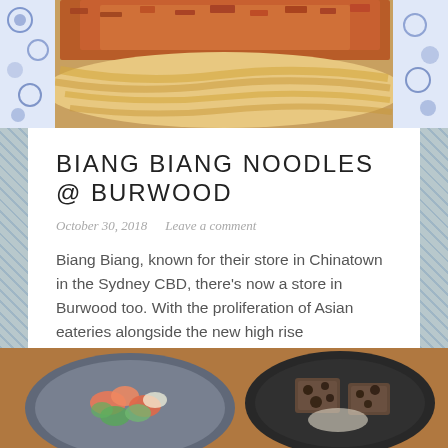[Figure (photo): Close-up photo of a noodle dish topped with red chili and spice mix on a blue and white patterned plate]
BIANG BIANG NOODLES @ BURWOOD
October 30, 2018   Leave a comment
Biang Biang, known for their store in Chinatown in the Sydney CBD, there's now a store in Burwood too. With the proliferation of Asian eateries alongside the new high rise developments, Burwood could vy for the mantel of the Chinatown of the inner west. Do your tastebuds a favour and get yourself to Biang Biang . . . Continue reading
[Figure (photo): Food photo showing two dishes: a salad with shrimp and vegetables on the left, and a dark bowl with toast/bread on the right]